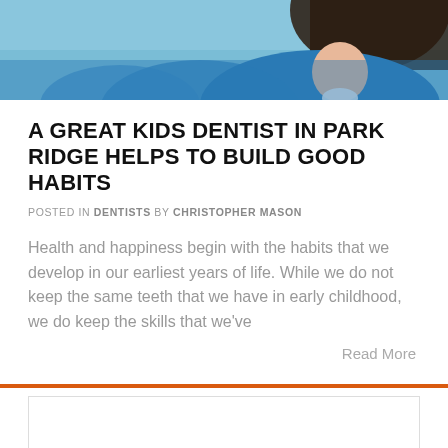[Figure (photo): Photo of a person (dentist or child patient) wearing blue clothing, cropped at top of page]
A GREAT KIDS DENTIST IN PARK RIDGE HELPS TO BUILD GOOD HABITS
POSTED IN DENTISTS BY CHRISTOPHER MASON
Health and happiness begin with the habits that we develop in our earliest years of life. While we do not keep the same teeth that we have in early childhood, we do keep the skills that we've
Read More